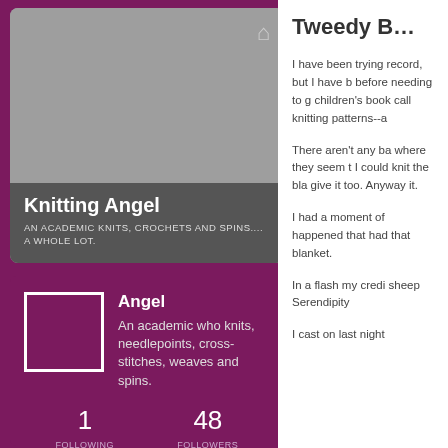[Figure (screenshot): Profile card with gray image area, home icon, and dark bottom bar showing 'Knitting Angel' blog name and tagline]
Knitting Angel
AN ACADEMIC KNITS, CROCHETS AND SPINS.... A WHOLE LOT.
[Figure (photo): User avatar placeholder box with white border on purple background]
Angel
An academic who knits, needlepoints, cross-stitches, weaves and spins.
1
FOLLOWING
48
FOLLOWERS
Tweedy Ba…
I have been trying record, but I have b before needing to g children's book call knitting patterns--a
There aren't any ba where they seem t I could knit the bla give it too. Anyway it.
I had a moment of happened that had that blanket.
In a flash my credi sheep Serendipity
I cast on last night